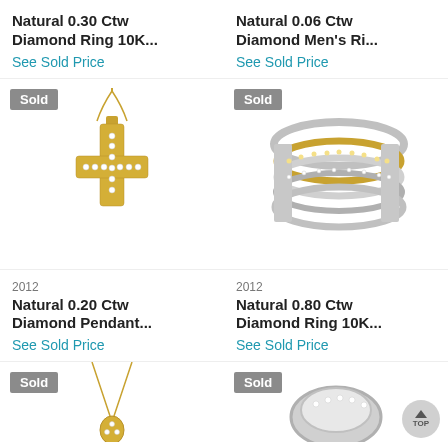Natural 0.30 Ctw Diamond Ring 10K...
See Sold Price
Natural 0.06 Ctw Diamond Men's Ri...
See Sold Price
[Figure (photo): Gold cross diamond pendant necklace with Sold badge]
[Figure (photo): Multi-band diamond ring with yellow and white stones with Sold badge]
2012
Natural 0.20 Ctw Diamond Pendant...
See Sold Price
2012
Natural 0.80 Ctw Diamond Ring 10K...
See Sold Price
[Figure (photo): Gold necklace pendant with Sold badge (partially visible)]
[Figure (photo): Diamond ring with Sold badge (partially visible)]